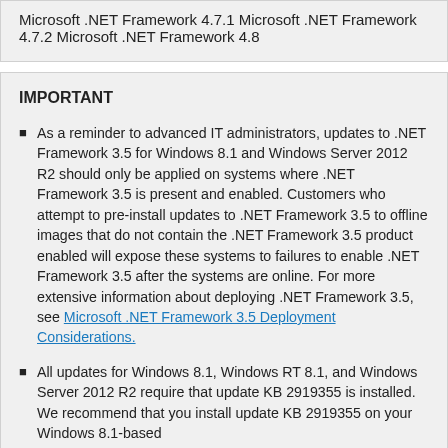Microsoft .NET Framework 4.7.1 Microsoft .NET Framework 4.7.2 Microsoft .NET Framework 4.8
IMPORTANT
As a reminder to advanced IT administrators, updates to .NET Framework 3.5 for Windows 8.1 and Windows Server 2012 R2 should only be applied on systems where .NET Framework 3.5 is present and enabled. Customers who attempt to pre-install updates to .NET Framework 3.5 to offline images that do not contain the .NET Framework 3.5 product enabled will expose these systems to failures to enable .NET Framework 3.5 after the systems are online. For more extensive information about deploying .NET Framework 3.5, see Microsoft .NET Framework 3.5 Deployment Considerations.
All updates for Windows 8.1, Windows RT 8.1, and Windows Server 2012 R2 require that update KB 2919355 is installed. We recommend that you install update KB 2919355 on your Windows 8.1-based